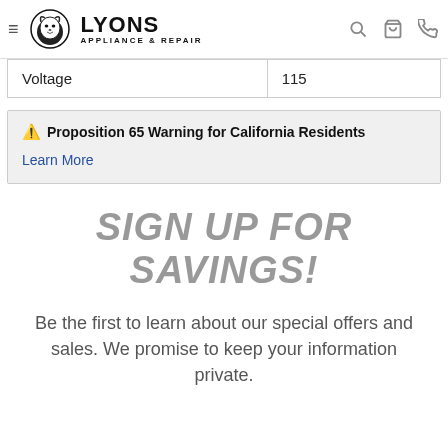Lyons Appliance & Repair
| Voltage | 115 |
⚠ Proposition 65 Warning for California Residents
Learn More
SIGN UP FOR SAVINGS!
Be the first to learn about our special offers and sales. We promise to keep your information private.